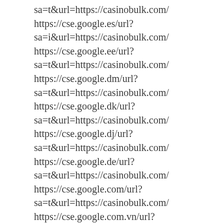sa=t&url=https://casinobulk.com/ https://cse.google.es/url?sa=i&url=https://casinobulk.com/ https://cse.google.ee/url?sa=t&url=https://casinobulk.com/ https://cse.google.dm/url?sa=t&url=https://casinobulk.com/ https://cse.google.dk/url?sa=t&url=https://casinobulk.com/ https://cse.google.dj/url?sa=t&url=https://casinobulk.com/ https://cse.google.de/url?sa=t&url=https://casinobulk.com/ https://cse.google.com/url?sa=t&url=https://casinobulk.com/ https://cse.google.com.vn/url?sa=t&url=https://casinobulk.com/ https://cse.google.com.uy/url?sa=t&url=https://casinobulk.com/ https://cse.google.com.ua/url?sa=t&url=https://casinobulk.com/